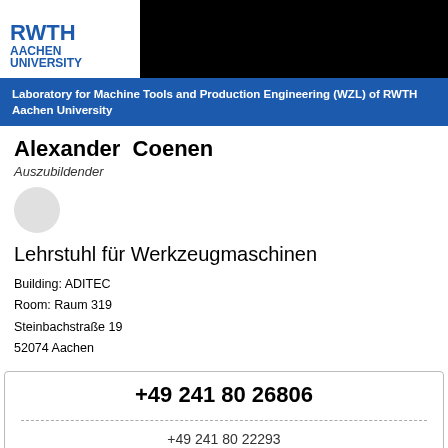[Figure (logo): RWTH Aachen University logo in blue and black text]
Laboratory for Machine Tools and Production Engineering (WZL) of RWTH Aachen University
Alexander  Coenen
Auszubildender
[Figure (photo): Small circular avatar/profile photo placeholder]
Lehrstuhl für Werkzeugmaschinen
Building: ADITEC
Room: Raum 319
Steinbachstraße 19
52074 Aachen
+49 241 80 26806
+49 241 80 22293